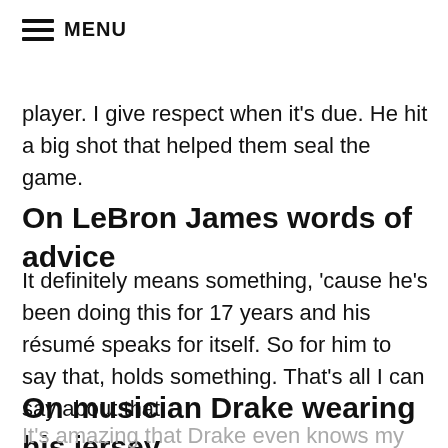≡ MENU
player. I give respect when it's due. He hit a big shot that helped them seal the game.
On LeBron James words of advice
It definitely means something, 'cause he's been doing this for 17 years and his résumé speaks for itself. So for him to say that, holds something. That's all I can say about that.
On musician Drake wearing his jersey
It's amazing that Drake even knows my name. When your favorite rapper wears your